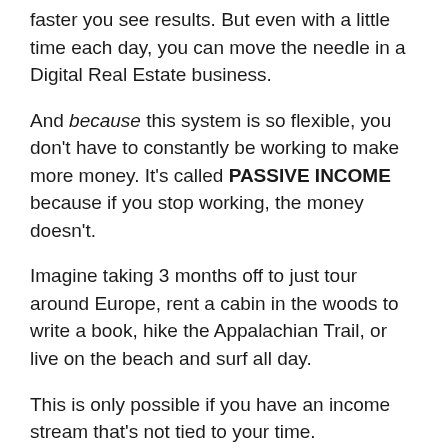faster you see results. But even with a little time each day, you can move the needle in a Digital Real Estate business.
And because this system is so flexible, you don't have to constantly be working to make more money. It's called PASSIVE INCOME because if you stop working, the money doesn't.
Imagine taking 3 months off to just tour around Europe, rent a cabin in the woods to write a book, hike the Appalachian Trail, or live on the beach and surf all day.
This is only possible if you have an income stream that's not tied to your time.